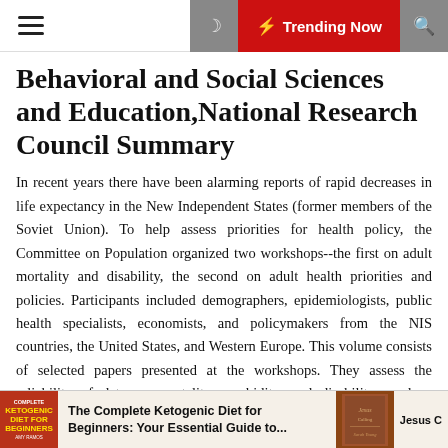Trending Now
Behavioral and Social Sciences and Education, National Research Council Summary
In recent years there have been alarming reports of rapid decreases in life expectancy in the New Independent States (former members of the Soviet Union). To help assess priorities for health policy, the Committee on Population organized two workshops--the first on adult mortality and disability, the second on adult health priorities and policies. Participants included demographers, epidemiologists, public health specialists, economists, and policymakers from the NIS countries, the United States, and Western Europe. This volume consists of selected papers presented at the workshops. They assess the reliability of data on mortality, morbidity, and disability; analyze regional patterns and trends in mortality rates and causes of death; review evidence about major determinants of adult mortality; and discuss
The Complete Ketogenic Diet for Beginners: Your Essential Guide to...
Jesus C